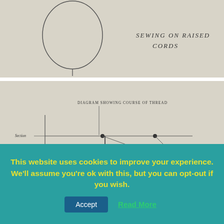[Figure (illustration): Hand-drawn diagram showing a bookbinding technique labeled 'SEWING ON RAISED CORDS'. Shows a circle shape on the left and the text label on the right.]
[Figure (illustration): Hand-drawn diagram of a bookbinding frame/sewing cradle showing 'DIAGRAM SHOWING COURSE OF THREAD', with labels: 'Section', 'Double Cords', 'Thread'. The bottom portion shows 'SEWING ON RAISED CORDS' with thread passing around cords in a sewing frame.]
This website uses cookies to improve your experience. We'll assume you're ok with this, but you can opt-out if you wish.
Accept
Read More